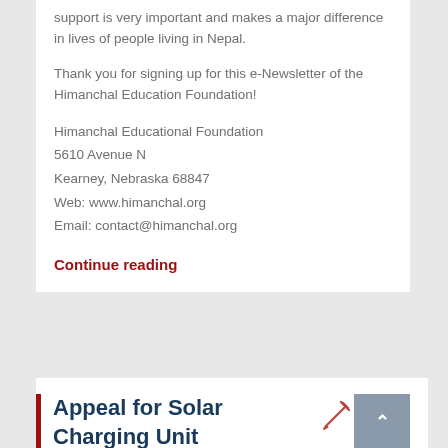support is very important and makes a major difference in lives of people living in Nepal.
Thank you for signing up for this e-Newsletter of the Himanchal Education Foundation!
Himanchal Educational Foundation
5610 Avenue N
Kearney, Nebraska 68847
Web: www.himanchal.org
Email: contact@himanchal.org
Continue reading
Appeal for Solar Charging Unit